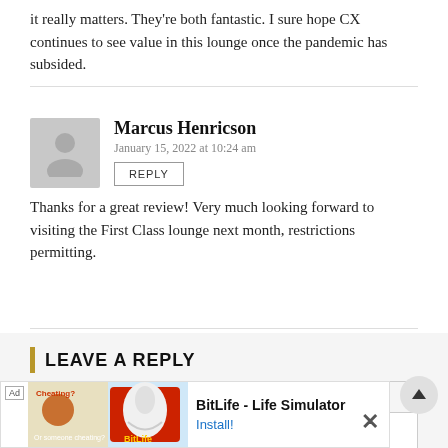it really matters. They're both fantastic. I sure hope CX continues to see value in this lounge once the pandemic has subsided.
Marcus Henricson
January 15, 2022 at 10:24 am
Thanks for a great review! Very much looking forward to visiting the First Class lounge next month, restrictions permitting.
LEAVE A REPLY
COMMENTS *
[Figure (other): Ad banner for BitLife - Life Simulator app with Install button]